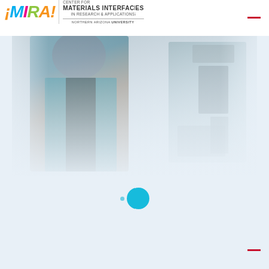iMIRA! Center for Materials Interfaces in Research & Applications — Northern Arizona University
[Figure (photo): A researcher in a teal shirt and dark jacket standing in a laboratory next to a microscope instrument. The image has a light blue-grey wash/fade effect.]